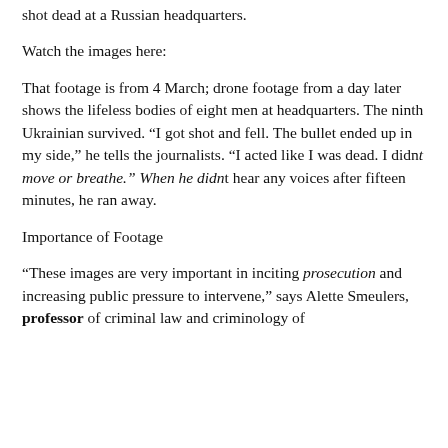shot dead at a Russian headquarters.
Watch the images here:
That footage is from 4 March; drone footage from a day later shows the lifeless bodies of eight men at headquarters. The ninth Ukrainian survived. “I got shot and fell. The bullet ended up in my side,” he tells the journalists. “I acted like I was dead. I didnt move or breathe.” When he didnt hear any voices after fifteen minutes, he ran away.
Importance of Footage
“These images are very important in inciting prosecution and increasing public pressure to intervene,” says Alette Smeulers, professor of criminal law and criminology of